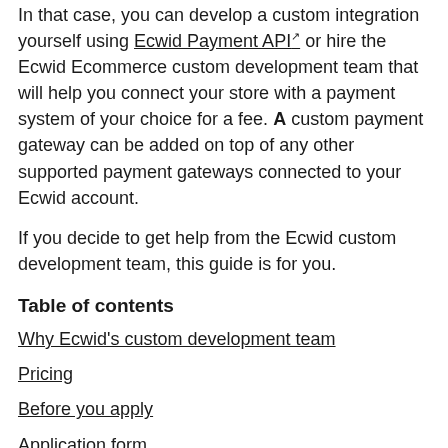In that case, you can develop a custom integration yourself using Ecwid Payment API¹ or hire the Ecwid Ecommerce custom development team that will help you connect your store with a payment system of your choice for a fee. A custom payment gateway can be added on top of any other supported payment gateways connected to your Ecwid account.
If you decide to get help from the Ecwid custom development team, this guide is for you.
Table of contents
Why Ecwid's custom development team
Pricing
Before you apply
Application form